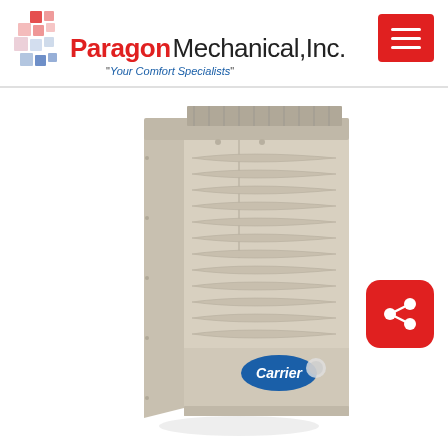Paragon Mechanical, Inc. - Your Comfort Specialists
[Figure (photo): Carrier brand residential gas furnace, beige/tan colored upflow furnace unit with louvered front panel and Carrier logo badge, photographed at a slight angle on white background]